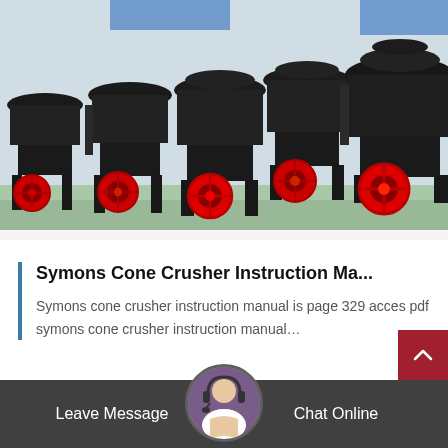[Figure (photo): Industrial warehouse storage area with multiple large black Symons cone crusher machines lined up in rows. Red circular pulley/flywheel elements visible on lower portions. Light blue/white building structure visible in background.]
Symons Cone Crusher Instruction Ma...
Symons cone crusher instruction manual is page 329 acces pdf symons cone crusher instruction manual…
Leave Message | Chat Online